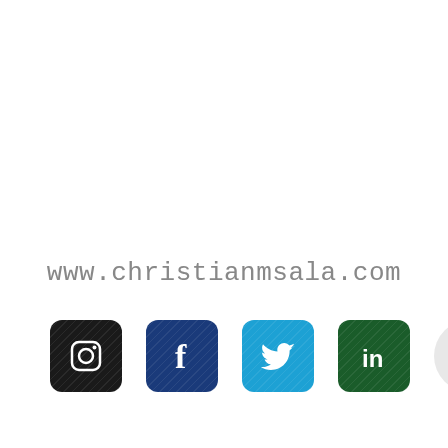www.christianmsala.com
[Figure (logo): Row of social media icons: Instagram (dark/black), Facebook (dark blue), Twitter (light blue), LinkedIn (dark green), and an up-arrow circle button]